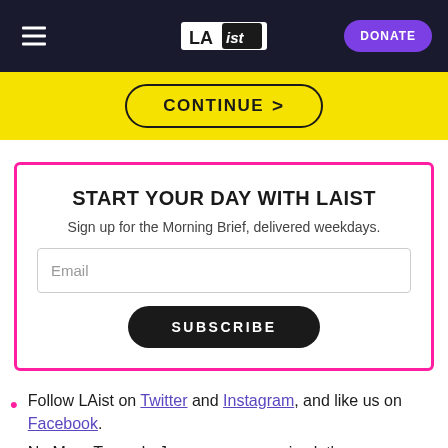LAist — DONATE
[Figure (other): Yellow CONTINUE button banner]
START YOUR DAY WITH LAIST
Sign up for the Morning Brief, delivered weekdays.
Email
SUBSCRIBE
Follow LAist on Twitter and Instagram, and like us on Facebook.
No More Tears: In Japan, a new service let's